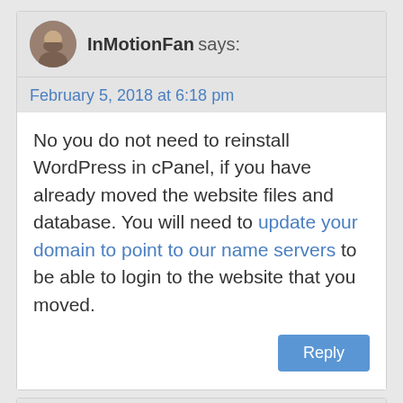InMotionFan says:
February 5, 2018 at 6:18 pm
No you do not need to reinstall WordPress in cPanel, if you have already moved the website files and database. You will need to update your domain to point to our name servers to be able to login to the website that you moved.
Reply
Kate says:
February 6, 2018 at 6:11 pm